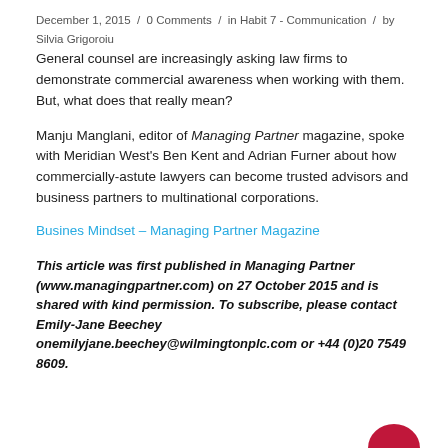December 1, 2015 / 0 Comments / in Habit 7 - Communication / by Silvia Grigoroiu
General counsel are increasingly asking law firms to demonstrate commercial awareness when working with them. But, what does that really mean?
Manju Manglani, editor of Managing Partner magazine, spoke with Meridian West's Ben Kent and Adrian Furner about how commercially-astute lawyers can become trusted advisors and business partners to multinational corporations.
Busines Mindset – Managing Partner Magazine
This article was first published in Managing Partner (www.managingpartner.com) on 27 October 2015 and is shared with kind permission. To subscribe, please contact Emily-Jane Beechey onemilyjane.beechey@wilmingtonplc.com or +44 (0)20 7549 8609.